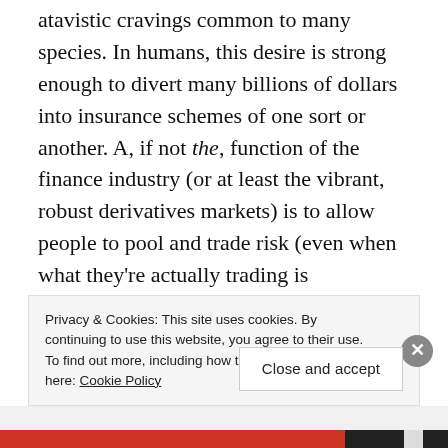atavistic cravings common to many species. In humans, this desire is strong enough to divert many billions of dollars into insurance schemes of one sort or another. A, if not the, function of the finance industry (or at least the vibrant, robust derivatives markets) is to allow people to pool and trade risk (even when what they're actually trading is uncertainty), easing tensions about the obscure future, permitting long-term planning and investment. Read through a 10-K sometime and you'll see that quite a bit of the fluff is devoted to
Privacy & Cookies: This site uses cookies. By continuing to use this website, you agree to their use. To find out more, including how to control cookies, see here: Cookie Policy
Close and accept